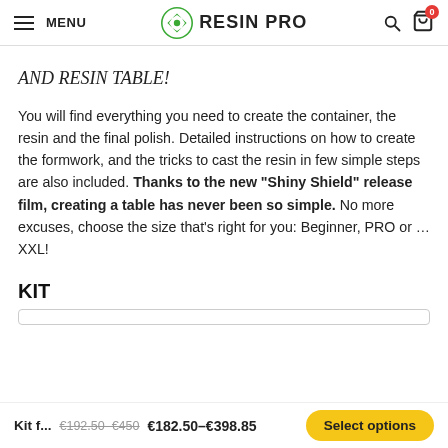MENU | RESIN PRO | [search] [cart 0]
AND RESIN TABLE!
You will find everything you need to create the container, the resin and the final polish. Detailed instructions on how to create the formwork, and the tricks to cast the resin in few simple steps are also included. Thanks to the new “Shiny Shield” release film, creating a table has never been so simple. No more excuses, choose the size that’s right for you: Beginner, PRO or … XXL!
KIT
Kit f... €192.50–€450 €182.50–€398.85 Select options